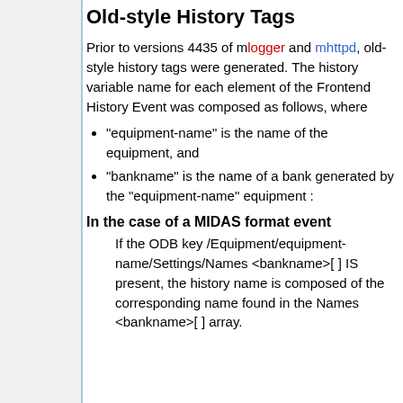Old-style History Tags
Prior to versions 4435 of mlogger and mhttpd, old-style history tags were generated. The history variable name for each element of the Frontend History Event was composed as follows, where
"equipment-name" is the name of the equipment, and
"bankname" is the name of a bank generated by the "equipment-name" equipment :
In the case of a MIDAS format event
If the ODB key /Equipment/equipment-name/Settings/Names <bankname>[ ] IS present, the history name is composed of the corresponding name found in the Names <bankname>[ ] array.